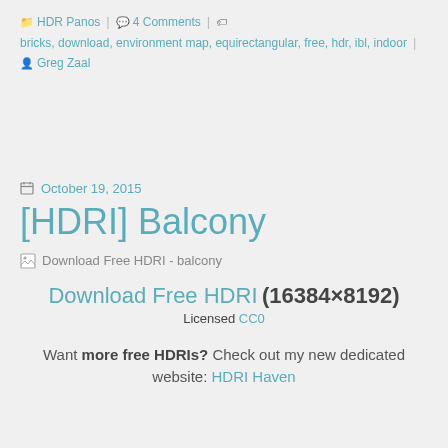HDR Panos | 4 Comments | bricks, download, environment map, equirectangular, free, hdr, ibl, indoor | Greg Zaal
October 19, 2015
[HDRI] Balcony
[Figure (photo): Broken image placeholder for Download Free HDRI - balcony]
Download Free HDRI (16384×8192) Licensed CC0
Want more free HDRIs? Check out my new dedicated website: HDRI Haven